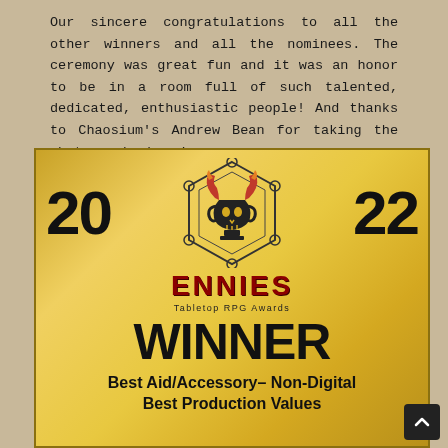Our sincere congratulations to all the other winners and all the nominees. The ceremony was great fun and it was an honor to be in a room full of such talented, dedicated, enthusiastic people! And thanks to Chaosium's Andrew Bean for taking the photograph above!
[Figure (illustration): 2022 ENnies Tabletop RPG Awards gold plaque showing WINNER for Best Aid/Accessory–Non-Digital and Best Production Values. Gold background with large '20' on left, '22' on right, ENnies logo in center with dragon skull emblem, 'ENNIES Tabletop RPG Awards' text, 'WINNER' in large bold text, 'Best Aid/Accessory–Non-Digital' and 'Best Production Values' below.]